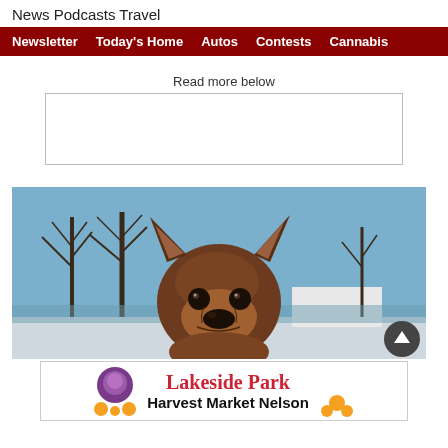News  Podcasts  Travel
Newsletter  Today's Home  Autos  Contests  Cannabis
Read more below
[Figure (photo): A French Bulldog facing the camera outdoors, with bare trees and a blue sky in the background.]
[Figure (infographic): Advertisement banner for Lakeside Park Harvest Market Nelson with decorative produce imagery.]